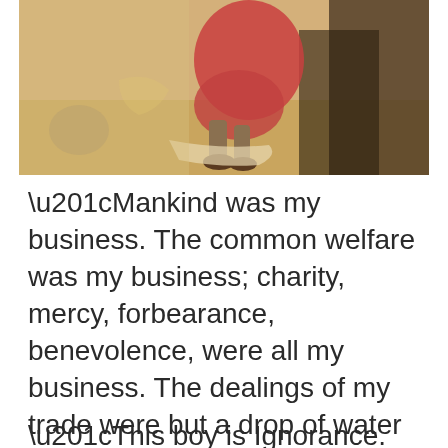[Figure (illustration): Partial illustration showing a figure in a red/pink dress crouching or kneeling, depicted in warm golden-brown tones, cropped at top showing only lower body and feet area. Painterly style reminiscent of Victorian-era book illustration.]
“Mankind was my business. The common welfare was my business; charity, mercy, forbearance, benevolence, were all my business. The dealings of my trade were but a drop of water in the comprehensive ocean of my business!”(62)
“This boy is Ignorance. This girl